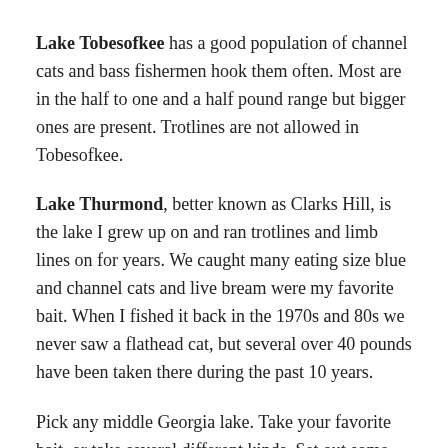Lake Tobesofkee has a good population of channel cats and bass fishermen hook them often. Most are in the half to one and a half pound range but bigger ones are present. Trotlines are not allowed in Tobesofkee.
Lake Thurmond, better known as Clarks Hill, is the lake I grew up on and ran trotlines and limb lines on for years. We caught many eating size blue and channel cats and live bream were my favorite bait. When I fished it back in the 1970s and 80s we never saw a flathead cat, but several over 40 pounds have been taken there during the past 10 years.
Pick any middle Georgia lake. Take your favorite bait, or take several different kinds. Set out some hooks and then cast out your rod and reel. No matter where you go and what you use, you will catch a mess of good eating cats.
This entry was posted in Catfish and Bullhead Fishing, Where To